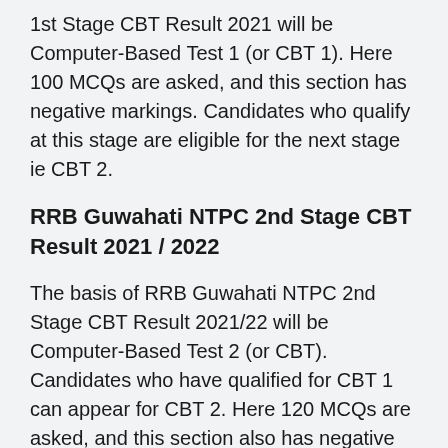1st Stage CBT Result 2021 will be Computer-Based Test 1 (or CBT 1). Here 100 MCQs are asked, and this section has negative markings. Candidates who qualify at this stage are eligible for the next stage ie CBT 2.
RRB Guwahati NTPC 2nd Stage CBT Result 2021 / 2022
The basis of RRB Guwahati NTPC 2nd Stage CBT Result 2021/22 will be Computer-Based Test 2 (or CBT). Candidates who have qualified for CBT 1 can appear for CBT 2. Here 120 MCQs are asked, and this section also has negative